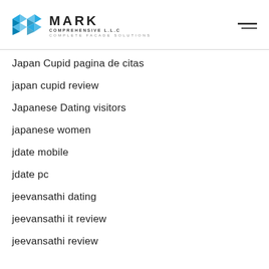MARK COMPREHENSIVE L.L.C — COMPLETE FACADE SOLUTIONS
Japan Cupid pagina de citas
japan cupid review
Japanese Dating visitors
japanese women
jdate mobile
jdate pc
jeevansathi dating
jeevansathi it review
jeevansathi review